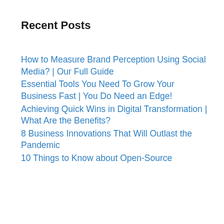Recent Posts
How to Measure Brand Perception Using Social Media? | Our Full Guide
Essential Tools You Need To Grow Your Business Fast | You Do Need an Edge!
Achieving Quick Wins in Digital Transformation | What Are the Benefits?
8 Business Innovations That Will Outlast the Pandemic
10 Things to Know about Open-Source